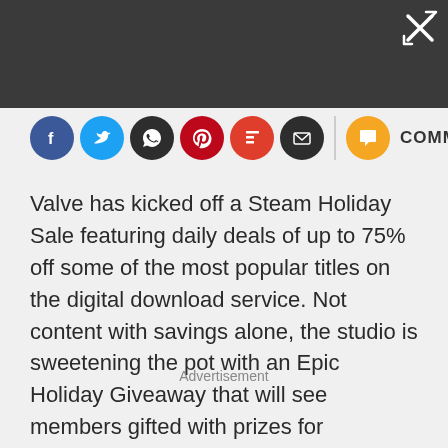[Figure (other): Dark top bar with close/expand button (X with arrows) in top right corner]
[Figure (other): Social sharing icon bar: Facebook (blue), Twitter (light blue), WhatsApp (dark), Pinterest (red), Flipboard (red), Email (dark), vertical divider, Comments (orange) with COMMENTS label]
Valve has kicked off a Steam Holiday Sale featuring daily deals of up to 75% off some of the most popular titles on the digital download service. Not content with savings alone, the studio is sweetening the pot with an Epic Holiday Giveaway that will see members gifted with prizes for completing in-game objectives, and one lucky gamer will win every game in Steam's massive library.
Advertisement